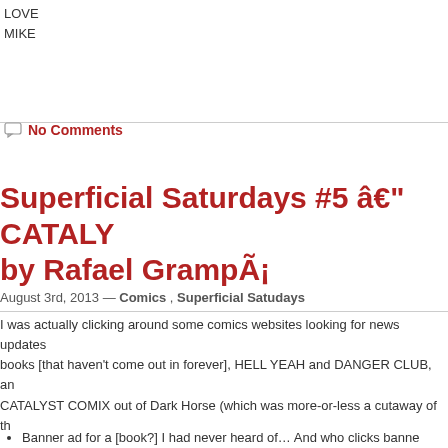LOVE
MIKE
No Comments
Superficial Saturdays #5 â€" CATALYST by Rafael GrampÃ¡
August 3rd, 2013 — Comics , Superficial Satudays
I was actually clicking around some comics websites looking for news updates books [that haven't come out in forever], HELL YEAH and DANGER CLUB, an CATALYST COMIX out of Dark Horse (which was more-or-less a cutaway of th
I thought it was gorgeous… Kind of like a cross between Geoff Darrow (or may SANDMAN) and Popeye cartoons.
So here's the criteria…
Banner ad for a [book?] I had never heard of… And who clicks banne